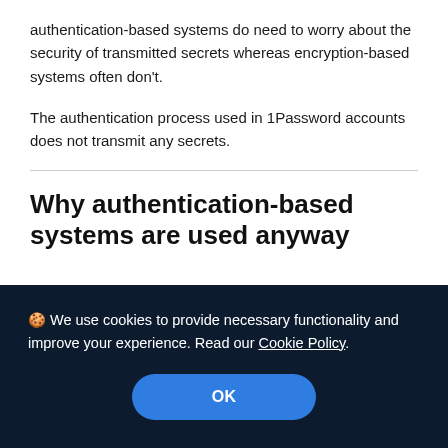authentication-based systems do need to worry about the security of transmitted secrets whereas encryption-based systems often don't.
The authentication process used in 1Password accounts does not transmit any secrets.
Why authentication-based systems are used anyway
🍪 We use cookies to provide necessary functionality and improve your experience. Read our Cookie Policy.